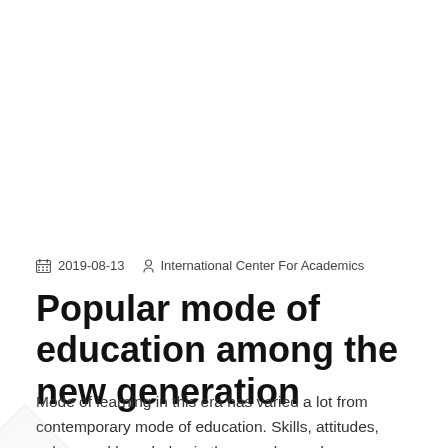2019-08-13   International Center For Academics
Popular mode of education among the new generation
Mode of learning in this era has varied a lot from contemporary mode of education. Skills, attitudes, values and knowledge in the complex and contemporary global context have been based entirely upon the mode of education a student prefers to study in. 21st century education is about how quickly